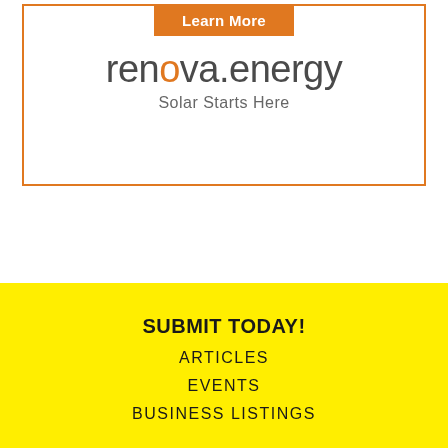[Figure (logo): renova.energy advertisement box with orange border, orange 'Learn More' button at top, logo text 'renova.energy' with orange dot, and tagline 'Solar Starts Here']
SUBMIT TODAY!
ARTICLES
EVENTS
BUSINESS LISTINGS